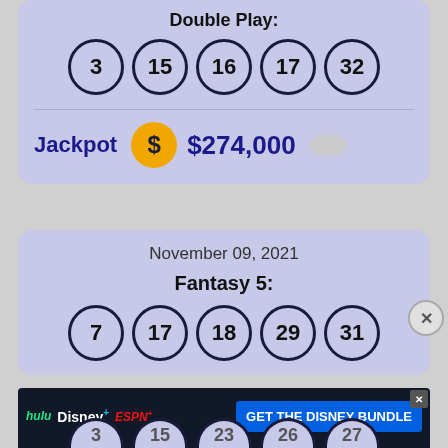Double Play:
[Figure (infographic): Five lottery balls showing numbers 3, 15, 16, 17, 32 in a row for Double Play]
Jackpot  $274,000
November 09, 2021
Fantasy 5:
[Figure (infographic): Five lottery balls showing numbers 7, 17, 18, 29, 31 in a row for Fantasy 5]
[Figure (screenshot): Advertisement banner for Disney Bundle featuring Hulu, Disney+, ESPN+ logos and GET THE DISNEY BUNDLE call to action. Fine print: Incl. Hulu (ad-supported) or Hulu (No Ads). Access content from each service separately. ©2021 Disney and its related entities.]
[Figure (infographic): Partial lottery balls at bottom showing numbers 3, 15, 23, 26, 27 partially visible]